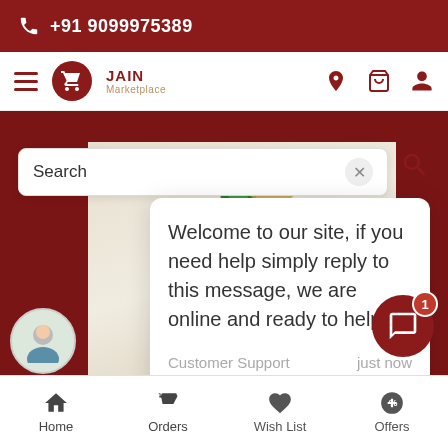+91 9099975389
[Figure (screenshot): Jain Marketplace logo with hamburger menu and nav icons (location, cart, user)]
[Figure (screenshot): Search bar with close button]
Welcome to our site, if you need help simply reply to this message, we are online and ready to help.
Customer Support    just now
[Figure (illustration): Banner with Satvik Aahar, Shuddh Vichar text and grain imagery]
Satvik Aahar, Shuddh Vichar
Home   Orders   Wish List   Offers